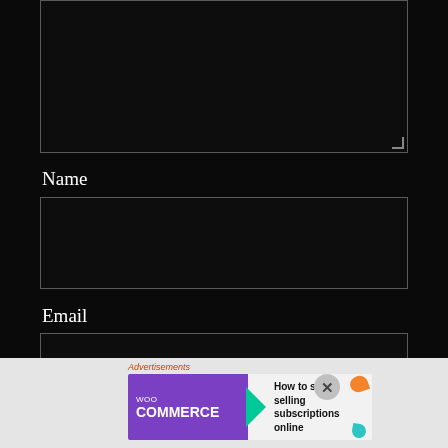[Figure (screenshot): Dark-themed web form showing textarea at top (partially visible), then Name, Email, and Website fields with dark input boxes on black background]
Name
Email
Website
[Figure (infographic): WooCommerce advertisement banner: 'How to start selling subscriptions online' on light background with purple WooCommerce logo and green arrow, decorative orange and teal shapes on right]
Advertisements